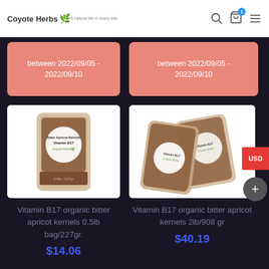Coyote Herbs
between 2022/09/05 - 2022/09/10
between 2022/09/05 - 2022/09/10
[Figure (photo): Bag of Vitamin B17 organic bitter apricot kernels 0.5lb/227gr from Coyote Herbs]
[Figure (photo): Two bags of Vitamin B17 organic bitter apricot kernels 2lb/908gr from Coyote Herbs]
Vitamin B17 organic bitter apricot kernels 0,5lb bag/227gr.
Vitamin B17 organic bitter apricot kernels 2lb/908 gr
$14.06
$40.19